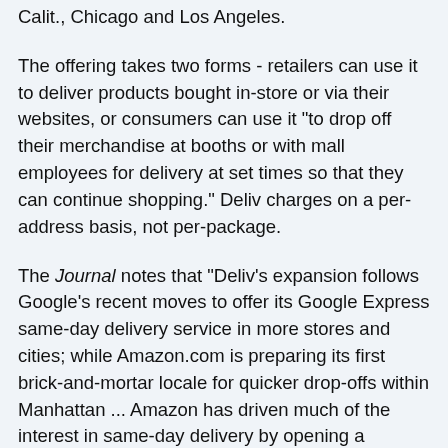Calit., Chicago and Los Angeles.
The offering takes two forms - retailers can use it to deliver products bought in-store or via their websites, or consumers can use it "to drop off their merchandise at booths or with mall employees for delivery at set times so that they can continue shopping." Deliv charges on a per-address basis, not per-package.
The Journal notes that "Deliv’s expansion follows Google’s recent moves to offer its Google Express same-day delivery service in more stores and cities; while Amazon.com is preparing its first brick-and-mortar locale for quicker drop-offs within Manhattan ... Amazon has driven much of the interest in same-day delivery by opening a growing number of warehouses near urban centers, as well as the recent expansion of its Fresh grocery service to Brooklyn. A crop of startups and established companies offer